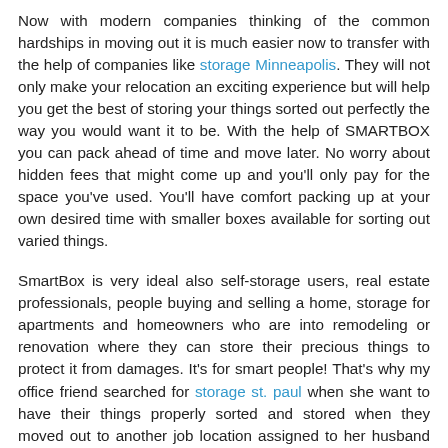Now with modern companies thinking of the common hardships in moving out it is much easier now to transfer with the help of companies like storage Minneapolis. They will not only make your relocation an exciting experience but will help you get the best of storing your things sorted out perfectly the way you would want it to be. With the help of SMARTBOX you can pack ahead of time and move later. No worry about hidden fees that might come up and you'll only pay for the space you've used. You'll have comfort packing up at your own desired time with smaller boxes available for sorting out varied things.
SmartBox is very ideal also self-storage users, real estate professionals, people buying and selling a home, storage for apartments and homeowners who are into remodeling or renovation where they can store their precious things to protect it from damages. It's for smart people! That's why my office friend searched for storage st. paul when she want to have their things properly sorted and stored when they moved out to another job location assigned to her husband when he was promoted to managerial position. Her family is dreading the discomfort and stress on packing, storing